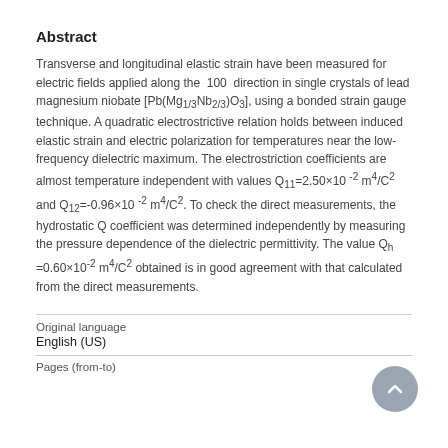Abstract
Transverse and longitudinal elastic strain have been measured for electric fields applied along the  100  direction in single crystals of lead magnesium niobate [Pb(Mg1/3Nb2/3)O3], using a bonded strain gauge technique. A quadratic electrostrictive relation holds between induced elastic strain and electric polarization for temperatures near the low-frequency dielectric maximum. The electrostriction coefficients are almost temperature independent with values Q11=2.50×10 -2 m4/C2 and Q12=-0.96×10 -2 m4/C2. To check the direct measurements, the hydrostatic Q coefficient was determined independently by measuring the pressure dependence of the dielectric permittivity. The value Qh =0.60×10-2 m4/C2 obtained is in good agreement with that calculated from the direct measurements.
Original language
English (US)
Pages (from-to)